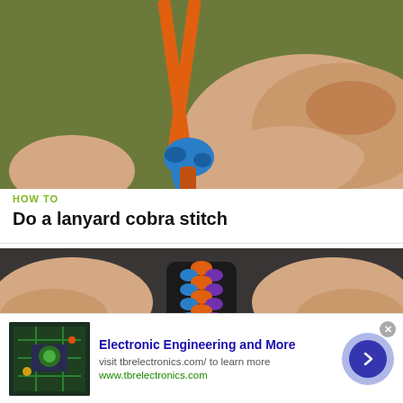[Figure (photo): Close-up photo of hands tying a blue cobra stitch knot on orange lanyard cords against a green background]
HOW TO
Do a lanyard cobra stitch
[Figure (photo): Close-up photo of two hands holding a finished orange and blue cobra stitch lanyard braid against a dark background]
Electronic Engineering and More
visit tbrelectronics.com/ to learn more
www.tbrelectronics.com